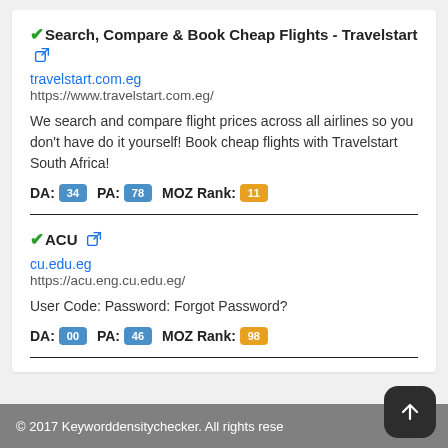Search, Compare & Book Cheap Flights - Travelstart
travelstart.com.eg
https://www.travelstart.com.eg/
We search and compare flight prices across all airlines so you don't have do it yourself! Book cheap flights with Travelstart South Africa!
DA: 34 PA: 78 MOZ Rank: 11
ACU
cu.edu.eg
https://acu.eng.cu.edu.eg/
User Code: Password: Forgot Password?
DA: 00 PA: 46 MOZ Rank: 98
© 2017 Keyworddensitychecker. All rights rese...